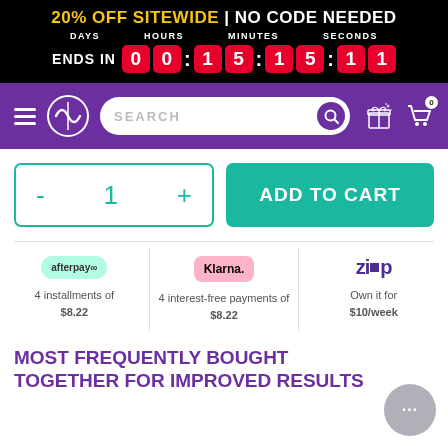20% OFF SITEWIDE | NO CODE NEEDED — ENDS IN 00:15:15:11
[Figure (screenshot): Purple navigation bar with hamburger menu, logo, search bar, gift icon and cart icon]
[Figure (screenshot): Product quantity selector with minus/plus buttons showing 1, and green ADD TO CART button]
4 installments of $8.22 (Afterpay) | 4 interest-free payments of $8.22 (Klarna) | Own it for $10/week (Zip)
MOST FREQUENTLY BOUGHT TOGETHER FOR IMPROVED RESULTS